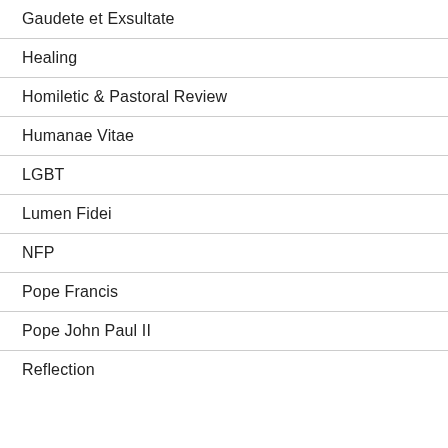Gaudete et Exsultate
Healing
Homiletic & Pastoral Review
Humanae Vitae
LGBT
Lumen Fidei
NFP
Pope Francis
Pope John Paul II
Reflection